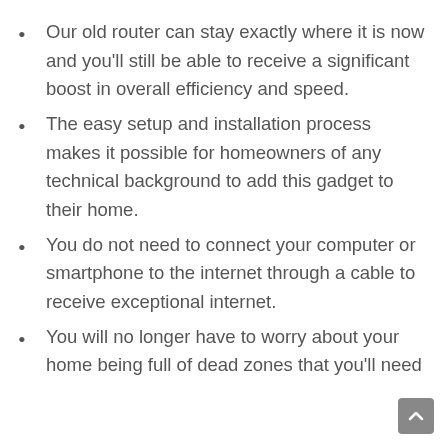Our old router can stay exactly where it is now and you'll still be able to receive a significant boost in overall efficiency and speed.
The easy setup and installation process makes it possible for homeowners of any technical background to add this gadget to their home.
You do not need to connect your computer or smartphone to the internet through a cable to receive exceptional internet.
You will no longer have to worry about your home being full of dead zones that you'll need